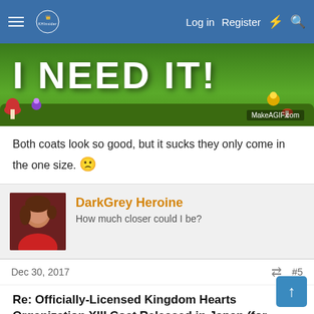Log in  Register
[Figure (photo): Green animated banner with text 'I NEED IT!' and MakeAGIF.com watermark]
Both coats look so good, but it sucks they only come in the one size. 🙁
DarkGrey Heroine
How much closer could I be?
Dec 30, 2017  #5
Re: Officially-Licensed Kingdom Hearts Organization XIII Coat Released in Japan (for Women)
MMMMMMMMMMMMMMMMMMMMMMMMMMMM IT LOOKS SO GOOD
BOTH LOOK SO GOOD